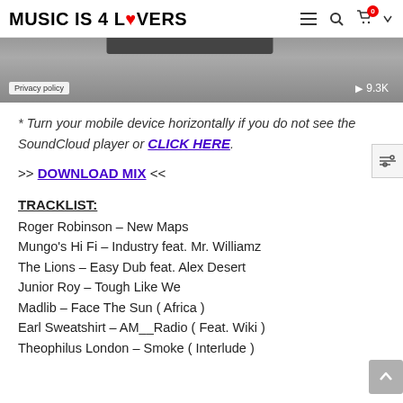MUSIC IS 4 LOVERS
[Figure (screenshot): SoundCloud embedded player widget showing a partially visible audio player with a dark bar at top, gray background, Privacy policy button at bottom-left, and play button with 9.3K plays at bottom-right]
* Turn your mobile device horizontally if you do not see the SoundCloud player or CLICK HERE.
>> DOWNLOAD MIX <<
TRACKLIST:
Roger Robinson – New Maps
Mungo's Hi Fi – Industry feat. Mr. Williamz
The Lions – Easy Dub feat. Alex Desert
Junior Roy – Tough Like We
Madlib – Face The Sun ( Africa )
Earl Sweatshirt – AM__Radio ( Feat. Wiki )
Theophilus London – Smoke ( Interlude )